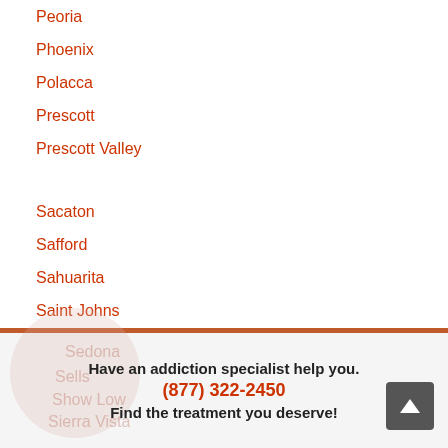Peoria
Phoenix
Polacca
Prescott
Prescott Valley
Sacaton
Safford
Sahuarita
Saint Johns
San Carlos
San Luis
San Manuel
San Tan Valley
Scottsdale
Have an addiction specialist help you.
(877) 322-2450
Find the treatment you deserve!